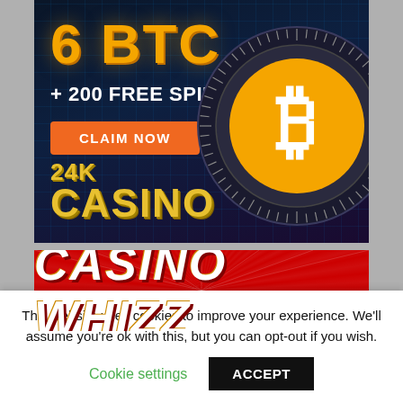[Figure (illustration): 24K Casino advertisement banner with dark blue/purple background, large orange '6 BTC' text, '+ 200 FREE SPINS' text, orange 'CLAIM NOW' button, a large Bitcoin coin graphic on the right, and '24K CASINO' gold text at the bottom left.]
[Figure (illustration): Casino Whizz advertisement banner with red background and white bold italic text reading 'CASINO WHIZZ'.]
This website uses cookies to improve your experience. We'll assume you're ok with this, but you can opt-out if you wish.
Cookie settings
ACCEPT